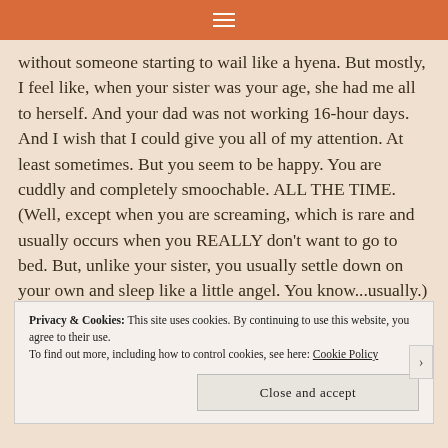≡
without someone starting to wail like a hyena. But mostly, I feel like, when your sister was your age, she had me all to herself. And your dad was not working 16-hour days. And I wish that I could give you all of my attention. At least sometimes. But you seem to be happy. You are cuddly and completely smoochable. ALL THE TIME. (Well, except when you are screaming, which is rare and usually occurs when you REALLY don't want to go to bed. But, unlike your sister, you usually settle down on your own and sleep like a little angel. You know...usually.) I promise that
Privacy & Cookies: This site uses cookies. By continuing to use this website, you agree to their use.
To find out more, including how to control cookies, see here: Cookie Policy
Close and accept